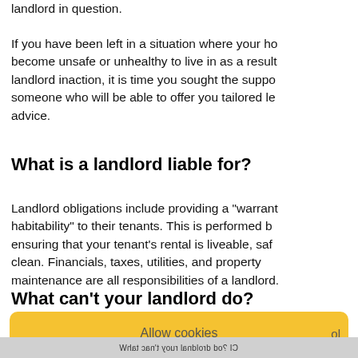landlord in question.
If you have been left in a situation where your home has become unsafe or unhealthy to live in as a result of landlord inaction, it is time you sought the support of someone who will be able to offer you tailored legal advice.
What is a landlord liable for?
Landlord obligations include providing a "warranty of habitability" to their tenants. This is performed by ensuring that your tenant's rental is liveable, safe, and clean. Financials, taxes, utilities, and property maintenance are all responsibilities of a landlord.
What can't your landlord do?
Allow cookies